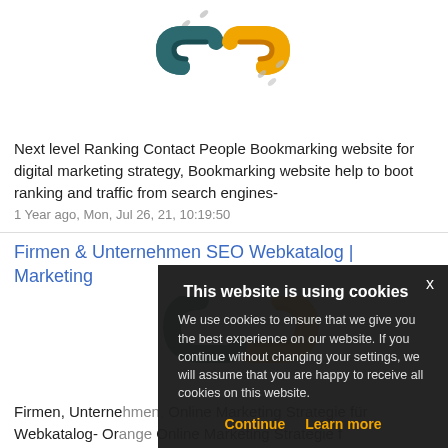[Figure (illustration): Chain link icon with dark teal and gold/orange links, partially shown at top]
Next level Ranking Contact People Bookmarking website for digital marketing strategy, Bookmarking website help to boot ranking and traffic from search engines-
1 Year ago, Mon, Jul 26, 21, 10:19:50
Firmen & Unternehmen SEO Webkatalog | Marketing
[Figure (illustration): Chain link icon with gold/orange link, partially shown]
Firmen, Unternehmen, Webkatalog- Online Marketing Strategie für Verzeichnis für Suchmaschinen-Erste Seite
1 Year ago, Mon, Jul 26, 21,
This website is using cookies
We use cookies to ensure that we give you the best experience on our website. If you continue without changing your settings, we will assume that you are happy to receive all cookies on this website.
Continue    Learn more